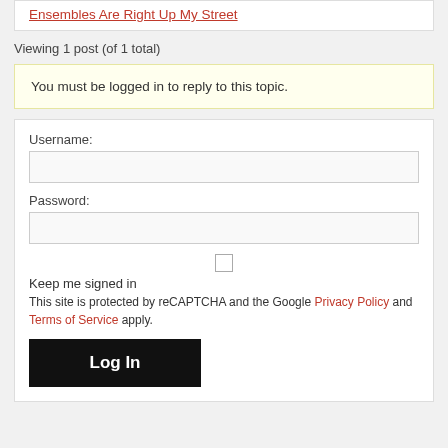Ensembles Are Right Up My Street
Viewing 1 post (of 1 total)
You must be logged in to reply to this topic.
Username:
Password:
Keep me signed in
This site is protected by reCAPTCHA and the Google Privacy Policy and Terms of Service apply.
Log In